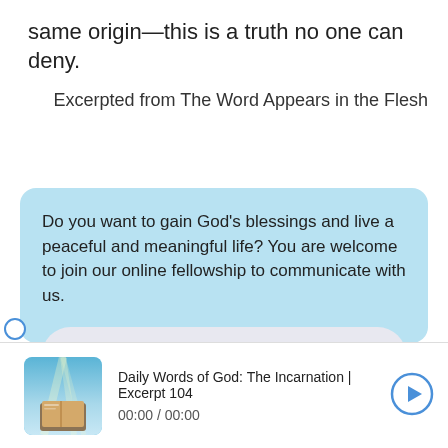same origin—this is a truth no one can deny.
Excerpted from The Word Appears in the Flesh
Do you want to gain God's blessings and live a peaceful and meaningful life? You are welcome to join our online fellowship to communicate with us.
Connect with us on Messenger
Contact us via WhatsApp
[Figure (illustration): Thumbnail image of a book with light rays, representing Daily Words of God audio content]
Daily Words of God: The Incarnation | Excerpt 104
00:00  /  00:00